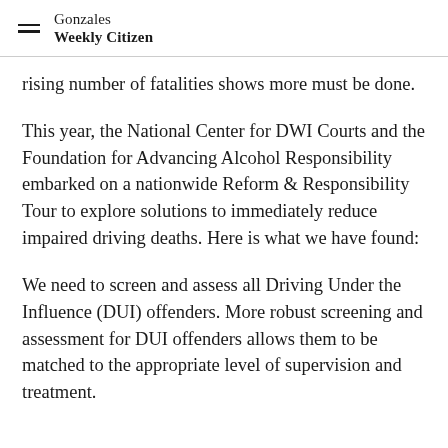Gonzales Weekly Citizen
rising number of fatalities shows more must be done.
This year, the National Center for DWI Courts and the Foundation for Advancing Alcohol Responsibility embarked on a nationwide Reform & Responsibility Tour to explore solutions to immediately reduce impaired driving deaths. Here is what we have found:
We need to screen and assess all Driving Under the Influence (DUI) offenders. More robust screening and assessment for DUI offenders allows them to be matched to the appropriate level of supervision and treatment.